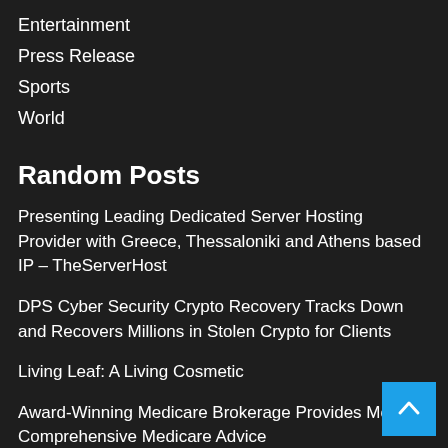Entertainment
Press Release
Sports
World
Random Posts
Presenting Leading Dedicated Server Hosting Provider with Greece, Thessaloniki and Athens based IP – TheServerHost
DPS Cyber Security Crypto Recovery Tracks Down and Recovers Millions in Stolen Crypto for Clients
Living Leaf: A Living Cosmetic
Award-Winning Medicare Brokerage Provides Most Comprehensive Medicare Advice